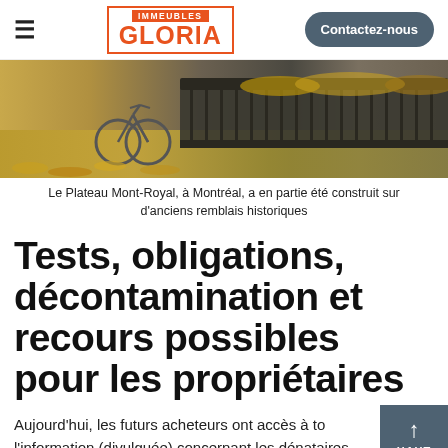IMMEUBLES GLORIA | Contactez-nous
[Figure (photo): Street scene in Le Plateau Mont-Royal, Montréal. A bicycle is parked against ornate black iron railings. Autumn leaves cover the ground and fill a decorative planter on top of the railing.]
Le Plateau Mont-Royal, à Montréal, a en partie été construit sur d'anciens remblais historiques
Tests, obligations, décontamination et recours possibles pour les propriétaires
Aujourd'hui, les futurs acheteurs ont accès à toute l'information (divulguée) concernant les dénataires